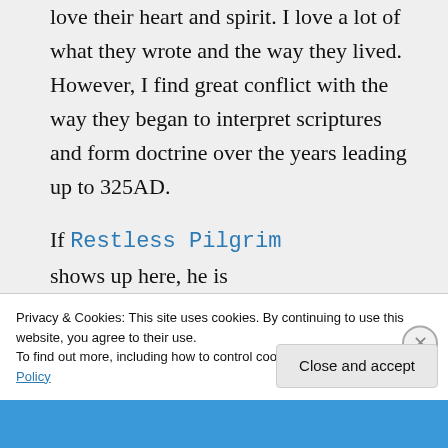love their heart and spirit. I love a lot of what they wrote and the way they lived. However, I find great conflict with the way they began to interpret scriptures and form doctrine over the years leading up to 325AD.
If Restless Pilgrim shows up here, he is
Privacy & Cookies: This site uses cookies. By continuing to use this website, you agree to their use.
To find out more, including how to control cookies, see here: Cookie Policy